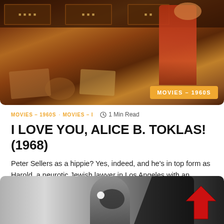[Figure (photo): Still from the 1968 movie 'I Love You, Alice B. Toklas!' showing colorful scene with vintage furniture and a woman in red dress]
MOVIES - 1960S · MOVIES - I   🕐 1 Min Read
I LOVE YOU, ALICE B. TOKLAS! (1968)
Peter Sellers as a hippie? Yes, indeed, and he's in top form as Harold, a neurotic Jewish lawyer in Los Angeles with an overbearing mother,...
Read More
[Figure (photo): Black and white still from a horror or classic film showing a monstrous face and a large red upward arrow overlay]